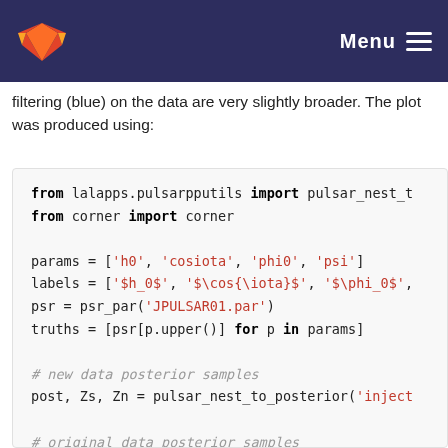Menu
filtering (blue) on the data are very slightly broader. The plot was produced using:
from lalapps.pulsarpputils import pulsar_nest_t
from corner import corner

params = ['h0', 'cosiota', 'phi0', 'psi']
labels = ['$h_0$', '$\cos{\iota}$', '$\phi_0$',
psr = psr_par('JPULSAR01.par')
truths = [psr[p.upper()] for p in params]

# new data posterior samples
post, Zs, Zn = pulsar_nest_to_posterior('inject

# original data posterior samples
postorig, Zsorig, Znorig = pulsar_nest_to_poste

samples = np.zeros((len(post['h0'].samples), 4)
samplesorig = np.zeros((len(postorig['h0'].samp